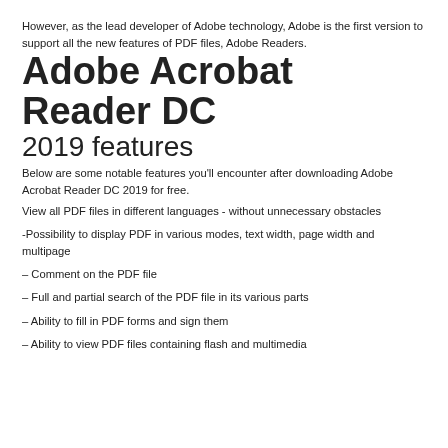However, as the lead developer of Adobe technology, Adobe is the first version to support all the new features of PDF files, Adobe Readers.
Adobe Acrobat Reader DC
2019 features
Below are some notable features you'll encounter after downloading Adobe Acrobat Reader DC 2019 for free.
View all PDF files in different languages - without unnecessary obstacles
-Possibility to display PDF in various modes, text width, page width and multipage
– Comment on the PDF file
– Full and partial search of the PDF file in its various parts
– Ability to fill in PDF forms and sign them
– Ability to view PDF files containing flash and multimedia